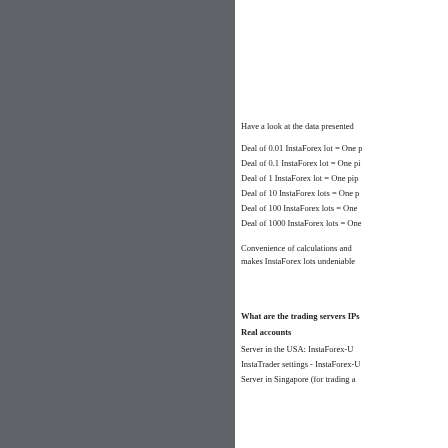InstaForex Company allows to trade on any type of account: MicroForex, Mini Forex ... implemented in order to make it p... $0.01 which allows 5000-10000 a... time, this lot size makes pip value ...
Have a look at the data presented ...
Deal of 0.01 InstaForex lot = One p...
Deal of 0.1 InstaForex lot = One pi...
Deal of 1 InstaForex lot = One pip...
Deal of 10 InstaForex lots = One p...
Deal of 100 InstaForex lots = One...
Deal of 1000 InstaForex lots = One...
Convenience of calculations and... makes InstaForex lots undeniable...
What are the trading servers IPs...
Real accounts
Server in the USA: InstaForex-U...
InstaTrader settings - InstaForex-U...
Server in Singapore (for trading a...